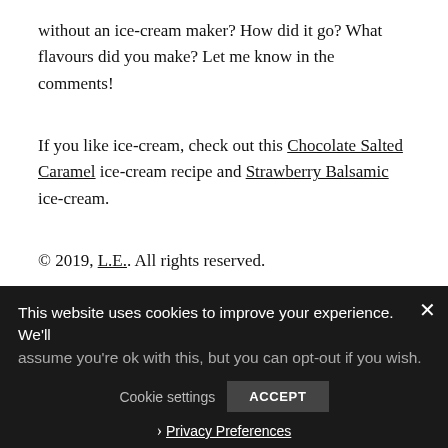without an ice-cream maker? How did it go? What flavours did you make? Let me know in the comments!
If you like ice-cream, check out this Chocolate Salted Caramel ice-cream recipe and Strawberry Balsamic ice-cream.
© 2019, L.E.. All rights reserved.
This website uses cookies to improve your experience. We'll assume you're ok with this, but you can opt-out if you wish. Cookie settings ACCEPT › Privacy Preferences ×